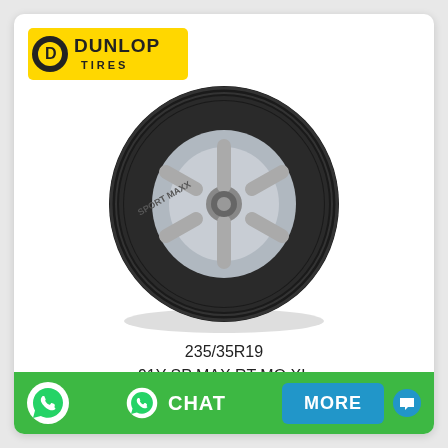[Figure (logo): Dunlop Tires logo — yellow background rectangle with DUNLOP in bold dark text and TIRES below, with a D emblem on the left]
[Figure (photo): A Dunlop sport tire (235/35R19) shown at an angle on a silver alloy wheel, black tire with tread pattern visible, bright white background]
235/35R19
91Y SP MAX RT MO XL
Lowest Price Guaranteed
[Figure (infographic): Green bottom bar with WhatsApp phone icon on the left, a CHAT button with WhatsApp icon in the center, and a blue MORE button on the right with a chat bubble icon]